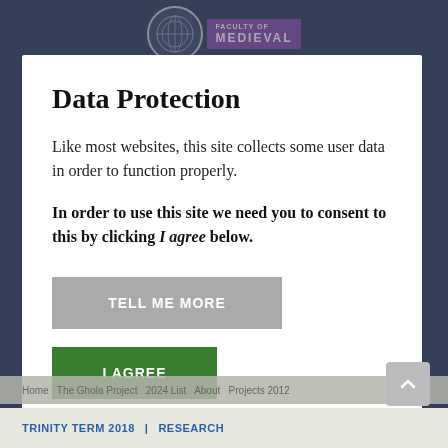FACULTY OF MEDIEVAL
Data Protection
Like most websites, this site collects some user data in order to function properly.
In order to use this site we need you to consent to this by clicking I agree below.
TELL ME MORE
I AGREE
TRINITY TERM 2018 | RESEARCH